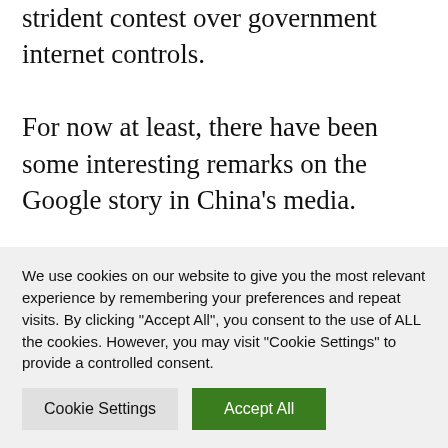strident contest over government internet controls. For now at least, there have been some interesting remarks on the Google story in China's media. Once again we turn to yesterday's edition of Guangzhou's Southern Metropolis Daily, where an opinion piece by Liu Hongbo (■■■),
We use cookies on our website to give you the most relevant experience by remembering your preferences and repeat visits. By clicking "Accept All", you consent to the use of ALL the cookies. However, you may visit "Cookie Settings" to provide a controlled consent.